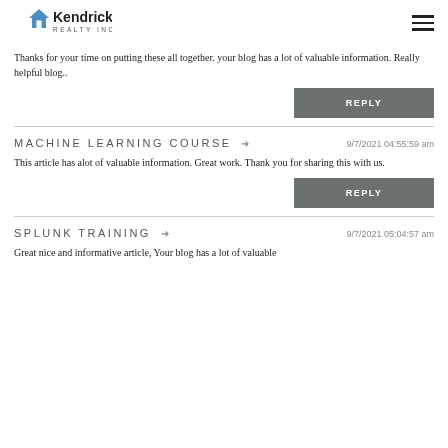[Figure (logo): Kendrick Realty Inc logo with house icon and hamburger menu]
Thanks for your time on putting these all together. your blog has a lot of valuable information. Really helpful blog..
REPLY
MACHINE LEARNING COURSE → 9/7/2021 04:55:59 am
This article has alot of valuable information. Great work. Thank you for sharing this with us.
REPLY
SPLUNK TRAINING → 9/7/2021 05:04:57 am
Great nice and informative article, Your blog has a lot of valuable